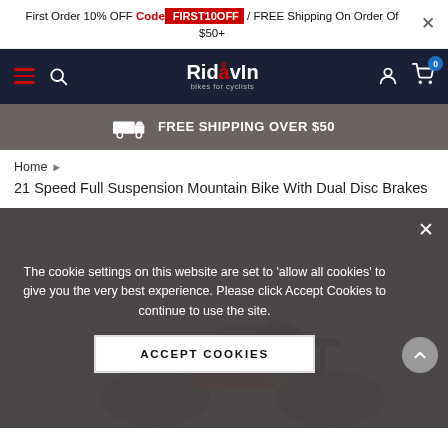First Order 10% OFF Code FIRST10OFF / FREE Shipping On Order Of $50+
[Figure (screenshot): Navigation bar with hamburger menu, search icon, RidevIn logo, user icon, and cart icon with badge showing 0]
FREE SHIPPING OVER $50
Home > 21 Speed Full Suspension Mountain Bike With Dual Disc Brakes
21 Speed Full Suspension Mountain Bike With Dual Disc Brakes
The cookie settings on this website are set to 'allow all cookies' to give you the very best experience. Please click Accept Cookies to continue to use the site.
ACCEPT COOKIES
[Figure (photo): Partial view of a mountain bike, dark background with red components visible at the bottom]